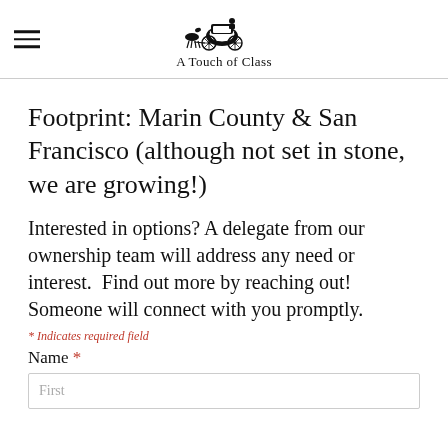A Touch of Class
Footprint: Marin County & San Francisco (although not set in stone, we are growing!)
Interested in options? A delegate from our ownership team will address any need or interest.  Find out more by reaching out! Someone will connect with you promptly.
* Indicates required field
Name *
First